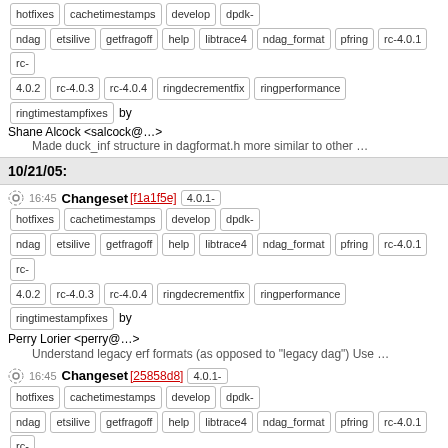hotfixes cachetimestamps develop dpdk-ndag etsilive getfragoff help libtrace4 ndag_format pfring rc-4.0.1 rc-4.0.2 rc-4.0.3 rc-4.0.4 ringdecrementfix ringperformance ringtimestampfixes by Shane Alcock <salcock@...>
Made duck_inf structure in dagformat.h more similar to other ...
10/21/05:
16:45 Changeset [f1a1f5e] 4.0.1-hotfixes cachetimestamps develop dpdk-ndag etsilive getfragoff help libtrace4 ndag_format pfring rc-4.0.1 rc-4.0.2 rc-4.0.3 rc-4.0.4 ringdecrementfix ringperformance ringtimestampfixes by Perry Lorier <perry@...>
Understand legacy erf formats (as opposed to "legacy dag") Use ...
16:45 Changeset [25858d8] 4.0.1-hotfixes cachetimestamps develop dpdk-ndag etsilive getfragoff help libtrace4 ndag_format pfring rc-4.0.1 rc-4.0.2 rc-4.0.3 rc-4.0.4 ringdecrementfix ringperformance ringtimestampfixes by Perry Lorier <perry@...>
Legacy pos
15:09 Changeset [006bbf7] 4.0.1-hotfixes cachetimestamps develop dpdk-ndag etsilive getfragoff help libtrace4 ndag_format pfring rc-4.0.1 rc-4.0.2 rc-4.0.3 rc-4.0.4 ringdecrementfix ringperformance ringtimestampfixes by